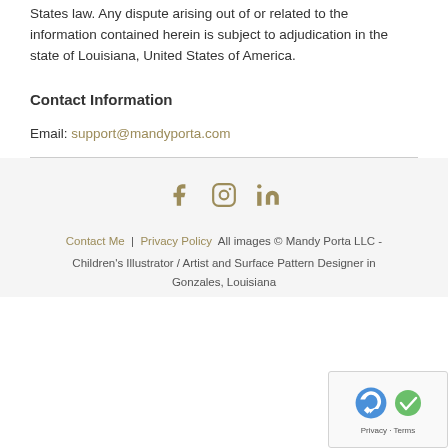States law. Any dispute arising out of or related to the information contained herein is subject to adjudication in the state of Louisiana, United States of America.
Contact Information
Email: support@mandyporta.com
[Figure (infographic): Social media icons: Facebook, Instagram, LinkedIn in olive/tan color]
Contact Me | Privacy Policy All images © Mandy Porta LLC - Children's Illustrator / Artist and Surface Pattern Designer in Gonzales, Louisiana